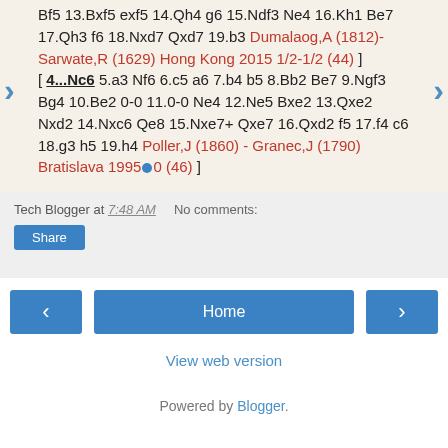Bf5 13.Bxf5 exf5 14.Qh4 g6 15.Ndf3 Ne4 16.Kh1 Be7 17.Qh3 f6 18.Nxd7 Qxd7 19.b3 Dumalaog,A (1812)-Sarwate,R (1629) Hong Kong 2015 1/2-1/2 (44) ] [ 4...Nc6 5.a3 Nf6 6.c5 a6 7.b4 b5 8.Bb2 Be7 9.Ngf3 Bg4 10.Be2 0-0 11.0-0 Ne4 12.Ne5 Bxe2 13.Qxe2 Nxd2 14.Nxc6 Qe8 15.Nxe7+ Qxe7 16.Qxd2 f5 17.f4 c6 18.g3 h5 19.h4 Poller,J (1860) - Granec,J (1790) Bratislava 1995 1-0 (46) ]
Tech Blogger at 7:48 AM   No comments:
Share
Home
View web version
Powered by Blogger.